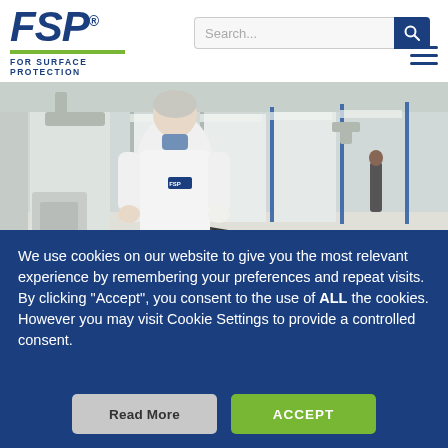[Figure (logo): FSP logo with tagline FOR SURFACE PROTECTION and green underline bar]
[Figure (screenshot): Search bar with search icon button on right]
[Figure (photo): Industrial paint booth facility with a woman in white lab coat wearing FSP badge, standing in foreground; long corridor of spray booths in background]
We use cookies on our website to give you the most relevant experience by remembering your preferences and repeat visits. By clicking “Accept”, you consent to the use of ALL the cookies. However you may visit Cookie Settings to provide a controlled consent.
Read More
ACCEPT